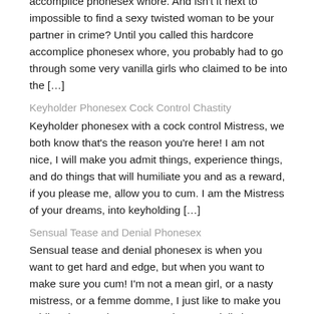accomplice phonesex whore. And isn't it next to impossible to find a sexy twisted woman to be your partner in crime? Until you called this hardcore accomplice phonesex whore, you probably had to go through some very vanilla girls who claimed to be into the […]
Keyholder Phonesex Cock Control Chastity
Keyholder phonesex with a cock control Mistress, we both know that's the reason you're here! I am not nice, I will make you admit things, experience things, and do things that will humiliate you and as a reward, if you please me, allow you to cum. I am the Mistress of your dreams, into keyholding […]
Sensual Tease and Denial Phonesex
Sensual tease and denial phonesex is when you want to get hard and edge, but when you want to make sure you cum! I'm not a mean girl, or a nasty mistress, or a femme domme, I just like to make you addicted to me, in every way, but especially by making you hard! I'm […]